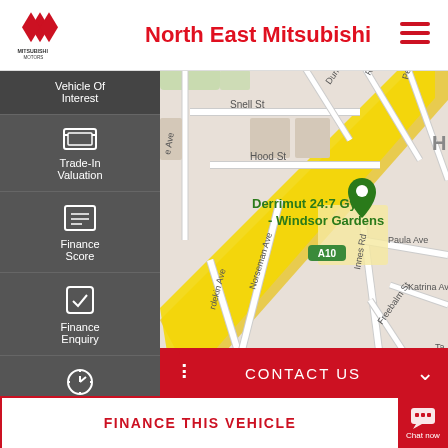[Figure (logo): Mitsubishi Motors logo - three red diamonds]
North East Mitsubishi
[Figure (map): Google Maps view showing streets around Windsor Gardens area including Snell St, Hood St, Norseman Ave, Macadam Ave, Ramsay Ave, Petrova Ave, Paula Ave, Katrina Ave, Freebalm St, with A10 highway diagonal and Derrimut 24:7 Gym - Windsor Gardens marker]
Vehicle Of Interest
Trade-In Valuation
Finance Score
Finance Enquiry
Book A Test Drive
Click To Buy
CONTACT US
FINANCE THIS VEHICLE
Chat now